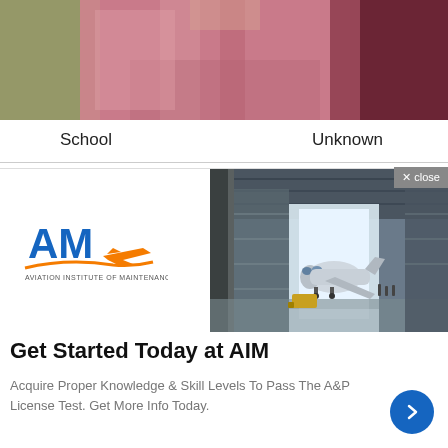[Figure (photo): Partial photo of a person in a pink/mauve graduation gown, cropped showing torso and arms]
School    Unknown
[Figure (photo): Advertisement for AIM (Aviation Institute of Maintenance). Shows AIM logo on left and a large aircraft hangar photo on right with a plane inside.]
× close
Get Started Today at AIM
Acquire Proper Knowledge & Skill Levels To Pass The A&P License Test. Get More Info Today.